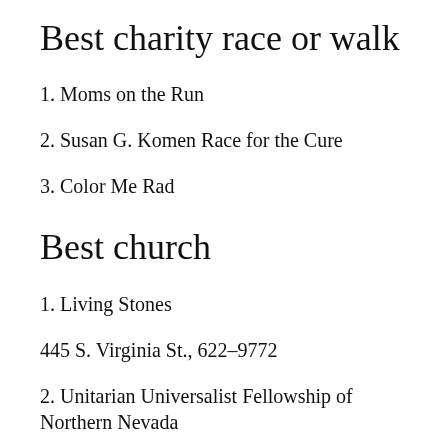Best charity race or walk
1. Moms on the Run
2. Susan G. Komen Race for the Cure
3. Color Me Rad
Best church
1. Living Stones
445 S. Virginia St., 622–9772
2. Unitarian Universalist Fellowship of Northern Nevada
780 Del Monte Lane, 851–7100